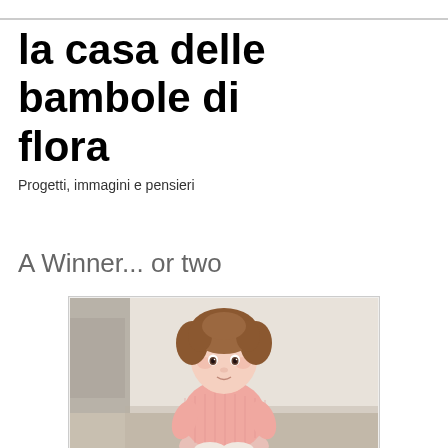la casa delle bambole di flora
Progetti, immagini e pensieri
sabato 23 marzo 2013
A Winner... or two
[Figure (photo): Photo of a realistic baby/toddler doll with brown hair, wearing a pink knitted outfit, seated against a soft blurred background suggesting an interior room setting.]